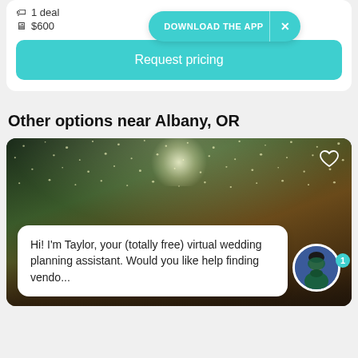1 deal
$600
[Figure (screenshot): DOWNLOAD THE APP banner button with teal background and X close button]
Request pricing
Other options near Albany, OR
[Figure (photo): Wedding venue photo with string lights, monogram AN on wall, crowd of guests. Overlay chat bubble: Hi! I'm Taylor, your (totally free) virtual wedding planning assistant. Would you like help finding vendo... with avatar of a person in teal clothing.]